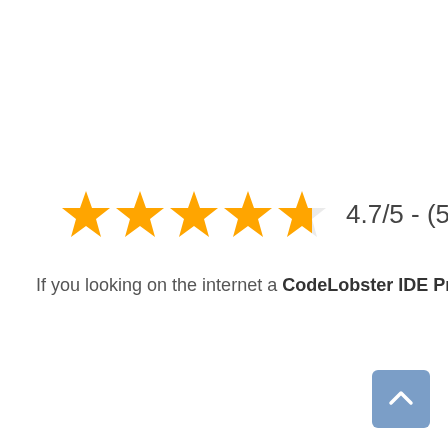[Figure (other): Star rating widget showing 4.7 out of 5 stars (4 full stars and one partial/half star) with text '4.7/5 - (51 votes)']
If you looking on the internet a CodeLobster IDE Professional Free